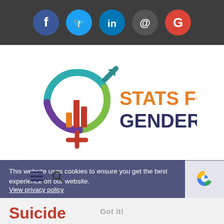Social media icons: Facebook, Twitter, LinkedIn, Email, Google
[Figure (logo): StatsForGender.org logo with gender symbols and colorful bar chart icon]
This website uses cookies to ensure you get the best experience on our website. View privacy policy
Got it!
Suicide